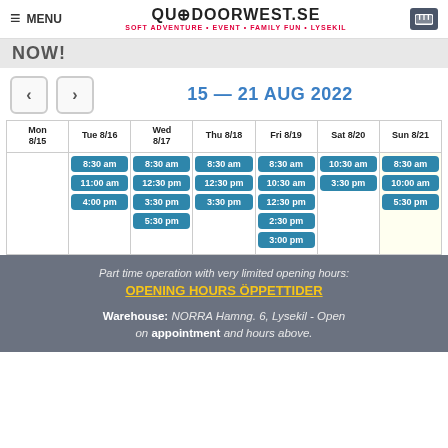MENU | OUTDOORWEST.SE SOFT ADVENTURE • EVENT • FAMILY FUN • LYSEKIL
NOW!
15 — 21 AUG 2022
| Mon 8/15 | Tue 8/16 | Wed 8/17 | Thu 8/18 | Fri 8/19 | Sat 8/20 | Sun 8/21 |
| --- | --- | --- | --- | --- | --- | --- |
|  | 8:30 am | 8:30 am | 8:30 am | 8:30 am | 10:30 am | 8:30 am |
|  | 11:00 am | 12:30 pm | 12:30 pm | 10:30 am | 3:30 pm | 10:00 am |
|  | 4:00 pm | 3:30 pm | 3:30 pm | 12:30 pm |  | 5:30 pm |
|  |  | 5:30 pm |  | 2:30 pm |  |  |
|  |  |  |  | 3:00 pm |  |  |
Part time operation with very limited opening hours:
OPENING HOURS  ÖPPETTIDER
Warehouse: NORRA Hamng. 6, Lysekil - Open on appointment and hours above.